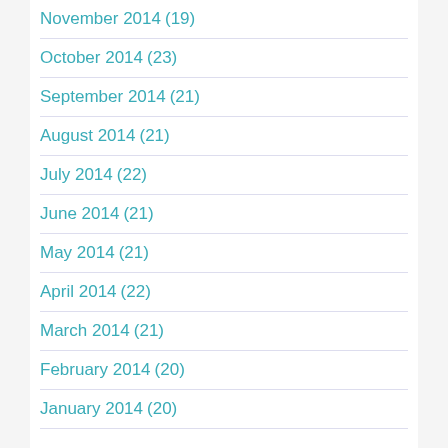November 2014 (19)
October 2014 (23)
September 2014 (21)
August 2014 (21)
July 2014 (22)
June 2014 (21)
May 2014 (21)
April 2014 (22)
March 2014 (21)
February 2014 (20)
January 2014 (20)